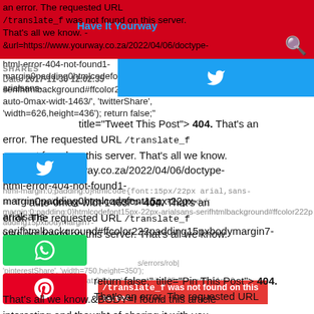an error. The requested URL /translate_f was not found on this server. That's all we know. - &url=https://www.yourway.co.za/2022/04/06/doctype-html-error-404-not-found1-margin0padding0htmlcodefont15px-22px-arialsans-serifhtmlbackground#ffcolor222padding15pxbodymargin7-auto-0max-widt-1463/
Have It Yourway
SHARES
Date: 2017-11-30 12:02:35
serifhtmlbackground#ffcolor222padding15pxbodymargin7-auto-0max-widt-1463/', 'twitterShare', 'width=626,height=436'); return false;" title="Tweet This Post"> 404. That's an error. The requested URL /translate_f was not found on this server. That's all we know. https://www.yourway.co.za/2022/04/06/doctype-html-error-404-not-found1-margin0padding0htmlcodefont15px-22px-arialsans-serifhtmlbackground#ffcolor222padding15pxbodymargin7-auto-0max-widt-1463/"> 404. That's an error. The requested URL /translate_f was not found on this server. That's all we know.
html-margin:0;padding:0}htmlcode{font:15px/22px arial,sans-serif}html{background:#fff;color:#222;padding:15px}body{r
'pinterestShare', 'width=750,height=350'); return false;" title="Pin This Post"> 404. That's an error. The requested URL /translate_f was not found on this server. That's all we know.&BODY=I found this article interesting and thought of sharing it with you. Check it out:
s/errors/robi
bxno-repeat:0 0;background-size:35px;margin:11px 0